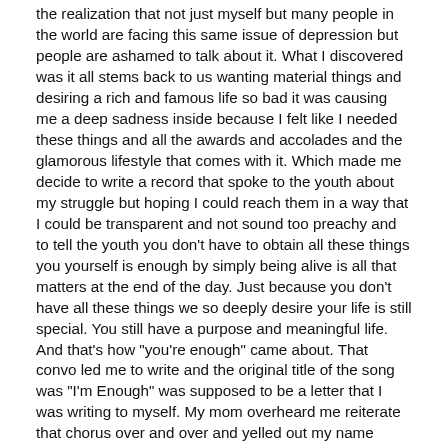the realization that not just myself but many people in the world are facing this same issue of depression but people are ashamed to talk about it. What I discovered was it all stems back to us wanting material things and desiring a rich and famous life so bad it was causing me a deep sadness inside because I felt like I needed these things and all the awards and accolades and the glamorous lifestyle that comes with it. Which made me decide to write a record that spoke to the youth about my struggle but hoping I could reach them in a way that I could be transparent and not sound too preachy and to tell the youth you don't have to obtain all these things you yourself is enough by simply being alive is all that matters at the end of the day. Just because you don't have all these things we so deeply desire your life is still special. You still have a purpose and meaningful life. And that's how "you're enough" came about. That convo led me to write and the original title of the song was "I'm Enough" was supposed to be a letter that I was writing to myself. My mom overheard me reiterate that chorus over and over and yelled out my name "Quan" she said you should change that tagline to You're Enough "I know the song is about you but it's for the listener